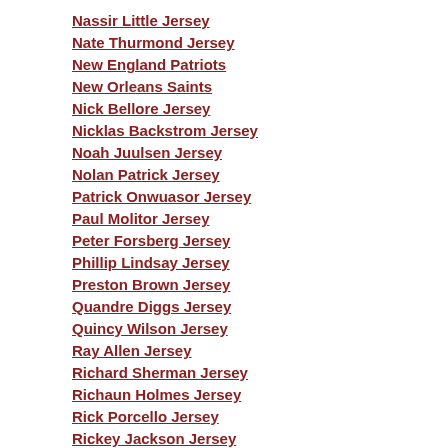Nassir Little Jersey
Nate Thurmond Jersey
New England Patriots
New Orleans Saints
Nick Bellore Jersey
Nicklas Backstrom Jersey
Noah Juulsen Jersey
Nolan Patrick Jersey
Patrick Onwuasor Jersey
Paul Molitor Jersey
Peter Forsberg Jersey
Phillip Lindsay Jersey
Preston Brown Jersey
Quandre Diggs Jersey
Quincy Wilson Jersey
Ray Allen Jersey
Richard Sherman Jersey
Richaun Holmes Jersey
Rick Porcello Jersey
Rickey Jackson Jersey
Rico Gathers Jersey